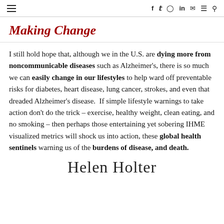≡  f  𝕏  ⊙  in  ✉  ≡  🔍
Making Change
I still hold hope that, although we in the U.S. are dying more from noncommunicable diseases such as Alzheimer's, there is so much we can easily change in our lifestyles to help ward off preventable risks for diabetes, heart disease, lung cancer, strokes, and even that dreaded Alzheimer's disease.  If simple lifestyle warnings to take action don't do the trick – exercise, healthy weight, clean eating, and no smoking – then perhaps those entertaining yet sobering IHME visualized metrics will shock us into action, these global health sentinels warning us of the burdens of disease, and death.
[Figure (illustration): Handwritten cursive signature reading 'Helen Holter']